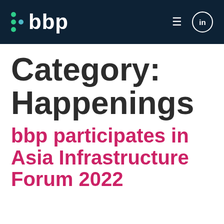bbp
Category: Happenings
bbp participates in Asia Infrastructure Forum 2022